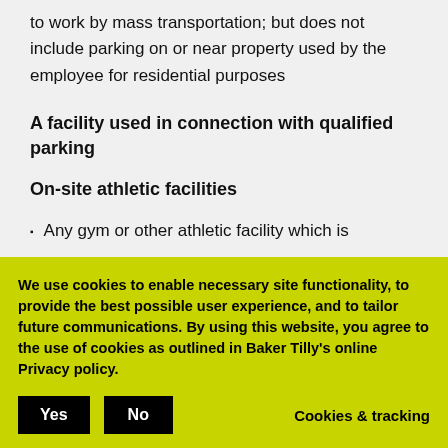to work by mass transportation; but does not include parking on or near property used by the employee for residential purposes
A facility used in connection with qualified parking
On-site athletic facilities
Any gym or other athletic facility which is
We use cookies to enable necessary site functionality, to provide the best possible user experience, and to tailor future communications. By using this website, you agree to the use of cookies as outlined in Baker Tilly's online Privacy policy.
compensated employees